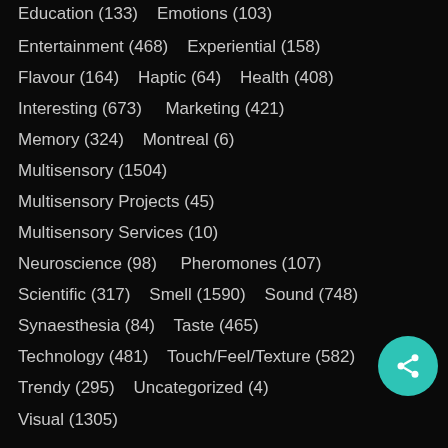Education (133)   Emotions (103)
Entertainment (468)   Experiential (158)
Flavour (164)   Haptic (64)   Health (408)
Interesting (673)   Marketing (421)
Memory (324)   Montreal (6)
Multisensory (1504)
Multisensory Projects (45)
Multisensory Services (10)
Neuroscience (98)   Pheromones (107)
Scientific (317)   Smell (1590)   Sound (748)
Synaesthesia (84)   Taste (465)
Technology (481)   Touch/Feel/Texture (582)
Trendy (295)   Uncategorized (4)
Visual (1305)